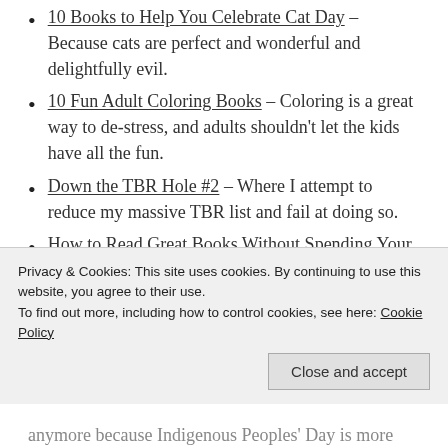10 Books to Help You Celebrate Cat Day – Because cats are perfect and wonderful and delightfully evil.
10 Fun Adult Coloring Books – Coloring is a great way to de-stress, and adults shouldn't let the kids have all the fun.
Down the TBR Hole #2 – Where I attempt to reduce my massive TBR list and fail at doing so.
How to Read Great Books Without Spending Your Entire Paycheck – Books are expensive but there's no reason that reading needs to be.
Chloe: Friday Favorites & Reese: Friday Favorites
Privacy & Cookies: This site uses cookies. By continuing to use this website, you agree to their use. To find out more, including how to control cookies, see here: Cookie Policy
anymore because Indigenous Peoples' Day is more